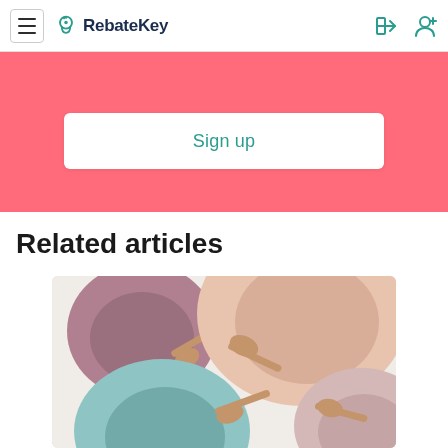RebateKey
[Figure (other): Sign up button on coral/pink background banner]
Related articles
[Figure (photo): Overhead photo of colorful pastel bowls and spoons - mauve, peach, teal, and light pink, with wooden spoons]